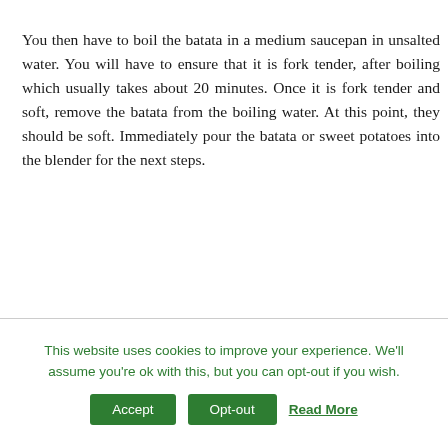You then have to boil the batata in a medium saucepan in unsalted water. You will have to ensure that it is fork tender, after boiling which usually takes about 20 minutes. Once it is fork tender and soft, remove the batata from the boiling water. At this point, they should be soft. Immediately pour the batata or sweet potatoes into the blender for the next steps.
This website uses cookies to improve your experience. We'll assume you're ok with this, but you can opt-out if you wish. Accept Opt-out Read More